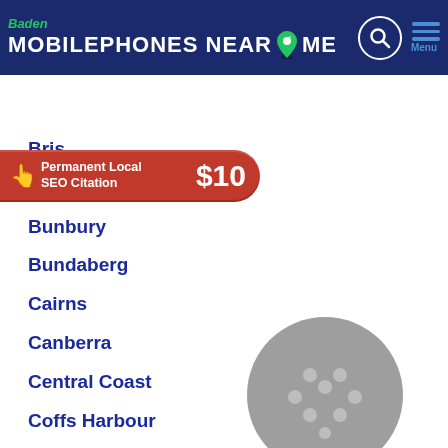Baden MOBILEPHONES NEAR ME
[Figure (infographic): Red banner with hand cursor icon, text 'Permanent Local SEO Citation' and price '$10']
Bris[bane]
Broadbeach
Bunbury
Bundaberg
Cairns
Canberra
Central Coast
Coffs Harbour
Darwin
Geelong
Gold Coast
Hervey Bay
Hobart
[Figure (other): Grey circular disc/speaker grille with small holes arranged in a pattern]